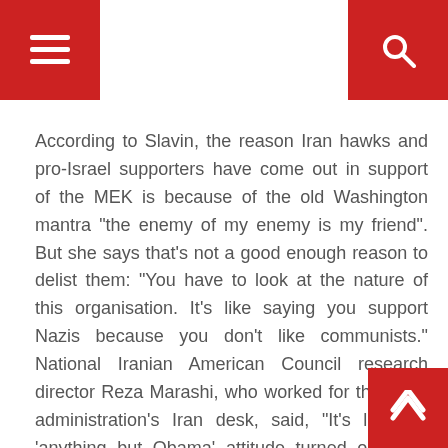Navigation header with menu and search icons
According to Slavin, the reason Iran hawks and pro-Israel supporters have come out in support of the MEK is because of the old Washington mantra "the enemy of my enemy is my friend". But she says that's not a good enough reason to delist them: "You have to look at the nature of this organisation. It's like saying you support Nazis because you don't like communists." National Iranian American Council research director Reza Marashi, who worked for the Bush administration's Iran desk, said, "It's like the 'anything but Obama' attitude turned onto the regime. They look at the six inches in front of their face and don't look beyond that. You'd think they'd learn their lesson from Iraq."